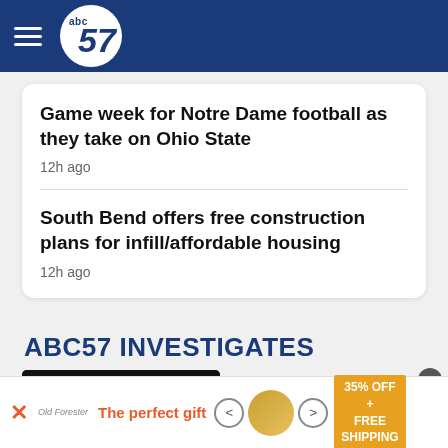abc57
Game week for Notre Dame football as they take on Ohio State
12h ago
South Bend offers free construction plans for infill/affordable housing
12h ago
ABC57 INVESTIGATES
No sex crime charges
[Figure (photo): Dark silhouette photo used for ABC57 Investigates segment]
The perfect gift · 35% OFF + FREE SHIPPING